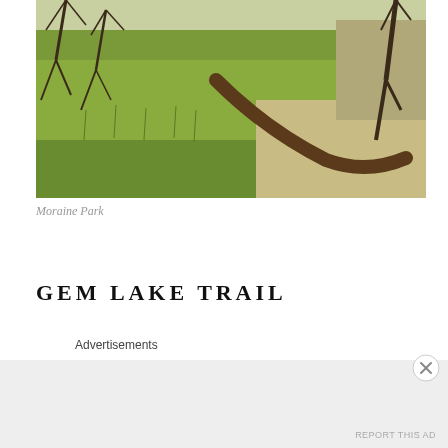[Figure (photo): Outdoor nature photo of Moraine Park showing green grassy meadow with bare shrubs/trees and a curved fallen log or branch in the foreground right, with rocky terrain in background right.]
Moraine Park
GEM LAKE TRAIL
Advertisements
Advertisements
REPORT THIS AD